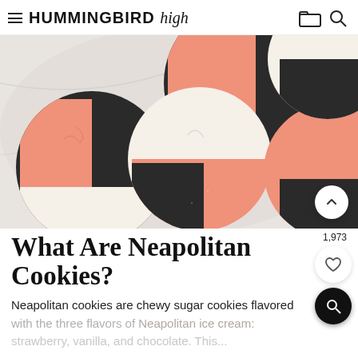HUMMINGBIRD high
[Figure (photo): Overhead photo of Neapolitan cookies on a marble surface, showing cookies divided into three sections: pink/strawberry, dark/chocolate, and cream/vanilla.]
What Are Neapolitan Cookies?
Neapolitan cookies are chewy sugar cookies flavored with the three flavors of Neapolitan ice cream: strawberry, vanilla, and chocolate. This...